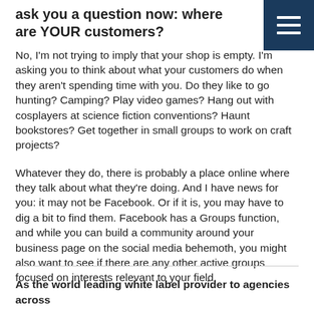ask you a question now: where are YOUR customers?
[Figure (other): Hamburger menu icon button (dark blue square with three white horizontal lines)]
No, I'm not trying to imply that your shop is empty. I'm asking you to think about what your customers do when they aren't spending time with you. Do they like to go hunting? Camping? Play video games? Hang out with cosplayers at science fiction conventions? Haunt bookstores? Get together in small groups to work on craft projects?
Whatever they do, there is probably a place online where they talk about what they're doing. And I have news for you: it may not be Facebook. Or if it is, you may have to dig a bit to find them. Facebook has a Groups function, and while you can build a community around your business page on the social media behemoth, you might also want to see if there are any other active groups focused on interests relevant to your field.
As the world leading white label provider to agencies across